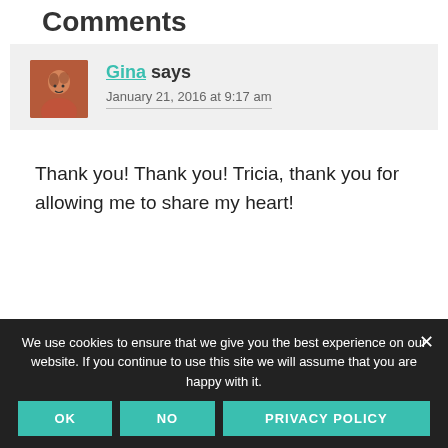Comments
Gina says
January 21, 2016 at 9:17 am
Thank you! Thank you! Tricia, thank you for allowing me to share my heart!
We use cookies to ensure that we give you the best experience on our website. If you continue to use this site we will assume that you are happy with it.